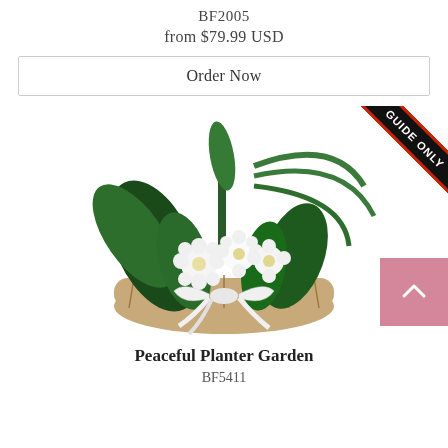BF2005
from $79.99 USD
Order Now
[Figure (photo): A basket planter arrangement with white chrysanthemum flowers, green tropical leaves and palm fronds, with a white ribbon bow at the front. A 'GUIDE ONLY' diagonal banner appears in the top-right corner.]
Peaceful Planter Garden
BF5411